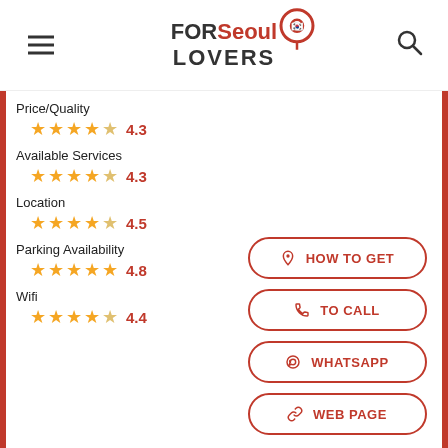FORSeoul LOVERS
Price/Quality 4.3
Available Services 4.3
Location 4.5
Parking Availability 4.8
Wifi 4.4
HOW TO GET
TO CALL
WHATSAPP
WEB PAGE